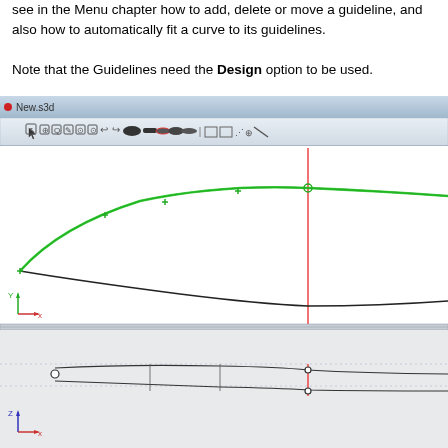see in the Menu chapter how to add, delete or move a guideline, and also how to automatically fit a curve to its guidelines.
Note that the Guidelines need the Design option to be used.
[Figure (screenshot): Screenshot of a 3D CAD/design software (New.s3d) showing two viewports: top viewport displays a boat hull outline curve in top view with green highlighted curve, control points marked with green crosses, and a vertical red guideline; bottom viewport shows a side/profile view of the same hull with the curve flattened, control points visible, and a vertical red guideline.]